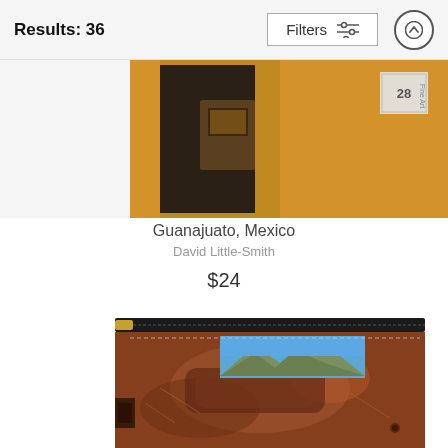Results: 36
Filters
[Figure (photo): Partial view of a yellow and brick wall with a dark doorway, product listing image, with a small stamp overlay showing '28']
Guanajuato, Mexico
David Little-Smith
$24
[Figure (photo): Pouch product with zipper showing a rusty old vehicle door with mountains and blue sky visible through the window]